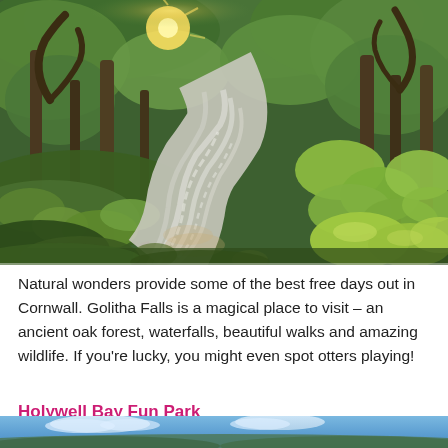[Figure (photo): A lush ancient oak forest with a flowing stream over moss-covered rocks in golden light, photographed with long exposure to show silky water movement. Green trees and mossy boulders surround the stream.]
Natural wonders provide some of the best free days out in Cornwall. Golitha Falls is a magical place to visit – an ancient oak forest, waterfalls, beautiful walks and amazing wildlife. If you're lucky, you might even spot otters playing!
Holywell Bay Fun Park
[Figure (photo): Partial view of a coastal scene, likely Holywell Bay, showing blue sky and landscape at the bottom of the page.]